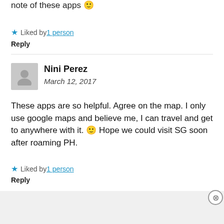note of these apps 🙂
★ Liked by 1 person
Reply
[Figure (illustration): Grey avatar placeholder with person silhouette icon]
Nini Perez
March 12, 2017
These apps are so helpful. Agree on the map. I only use google maps and believe me, I can travel and get to anywhere with it. 🙂 Hope we could visit SG soon after roaming PH.
★ Liked by 1 person
Reply
[Figure (screenshot): Advertisement banner: DuckDuckGo - Search, browse, and email with more privacy. All in One Free App]